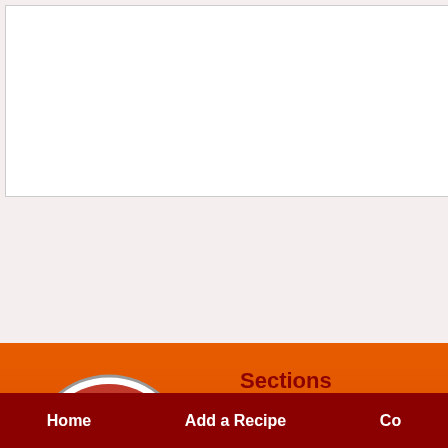[Figure (screenshot): Top white content area with border]
[Figure (photo): Appetizers food photo with dark berry topping]
Appetizers
[Figure (photo): Second food photo partially visible]
Snacks
[Figure (logo): Happy Stove logo - red circle with fork and knife, cursive text]
Sections
→ Articles
→ Appetizers
→ Main Dishes
→ Side Dishes
→ Desserts
→ Basics
Brows...
→ By Pic...
→ By Ing...
→ By Tag...
Home | Add a Recipe | Co...